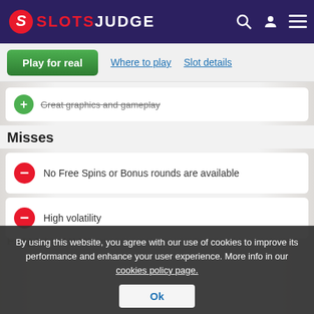SLOTSJUDGE
Great graphics and gameplay
Misses
No Free Spins or Bonus rounds are available
High volatility
By using this website, you agree with our use of cookies to improve its performance and enhance your user experience. More info in our cookies policy page.